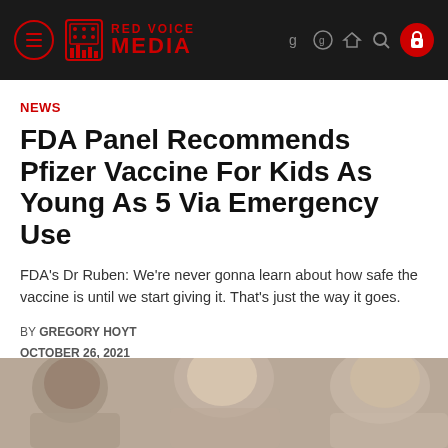Red Voice Media
NEWS
FDA Panel Recommends Pfizer Vaccine For Kids As Young As 5 Via Emergency Use
FDA's Dr Ruben: We're never gonna learn about how safe the vaccine is until we start giving it. That's just the way it goes.
BY GREGORY HOYT
OCTOBER 26, 2021
[Figure (photo): Photo of children, partially visible at bottom of page]